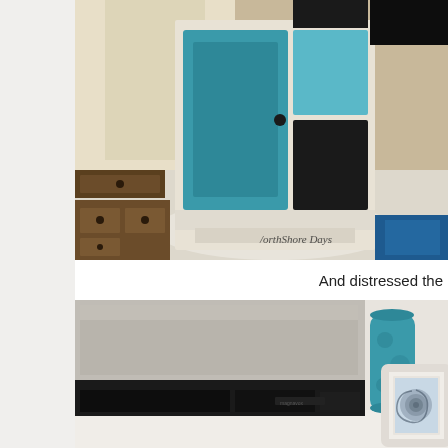[Figure (photo): Photo of a cabinet being painted teal/turquoise with white trim, drawers removed and sitting on drop cloth on floor. Watermark reads 'NorthShore Days'.]
And distressed the
[Figure (photo): Photo of a white painted media console/TV stand with dark electronics (TV/receiver) and decorative items including a teal vase and a white ornate picture frame with a seashell image.]